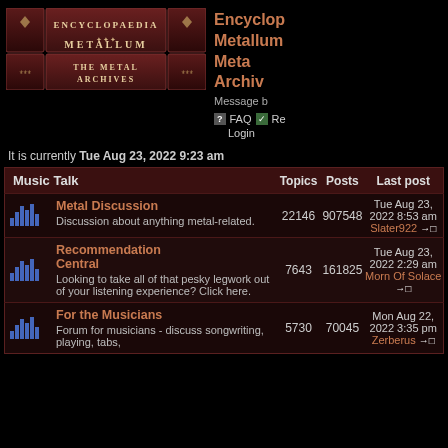[Figure (logo): Encyclopaedia Metallum: The Metal Archives logo banner]
Encyclopaedia Metallum: Metal Archives
Message board
FAQ  Register  Login
It is currently Tue Aug 23, 2022 9:23 am
| Music Talk | Topics | Posts | Last post |
| --- | --- | --- | --- |
| Metal Discussion
Discussion about anything metal-related. | 22146 | 907548 | Tue Aug 23, 2022 8:53 am
Slater922 |
| Recommendation Central
Looking to take all of that pesky legwork out of your listening experience? Click here. | 7643 | 161825 | Tue Aug 23, 2022 2:29 am
Morn Of Solace |
| For the Musicians
Forum for musicians - discuss songwriting, playing, tabs, | 5730 | 70045 | Mon Aug 22, 2022 3:35 pm
Zerberus |